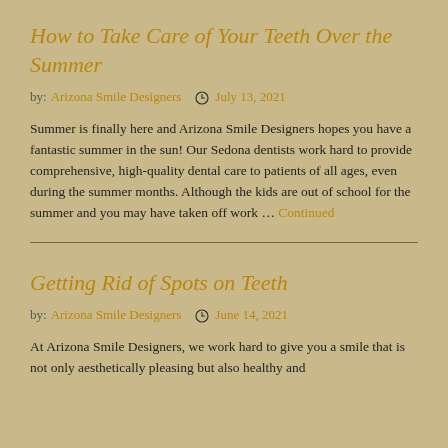How to Take Care of Your Teeth Over the Summer
by: Arizona Smile Designers  July 13, 2021
Summer is finally here and Arizona Smile Designers hopes you have a fantastic summer in the sun! Our Sedona dentists work hard to provide comprehensive, high-quality dental care to patients of all ages, even during the summer months. Although the kids are out of school for the summer and you may have taken off work … Continued
Getting Rid of Spots on Teeth
by: Arizona Smile Designers  June 14, 2021
At Arizona Smile Designers, we work hard to give you a smile that is not only aesthetically pleasing but also healthy and